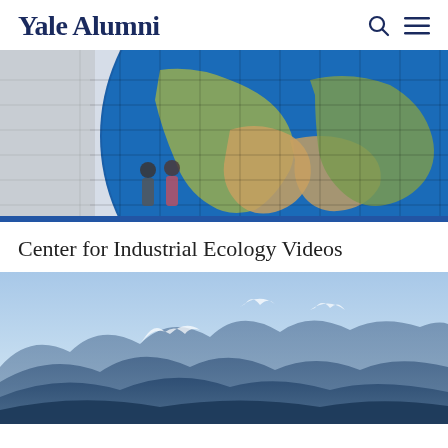Yale Alumni
[Figure (photo): Large decorative globe sculpture with grid pattern showing continents, two people standing in front of it, building in background]
Center for Industrial Ecology Videos
[Figure (photo): Mountain landscape with blue sky, snow-capped peaks and layered mountain ridges in the distance]